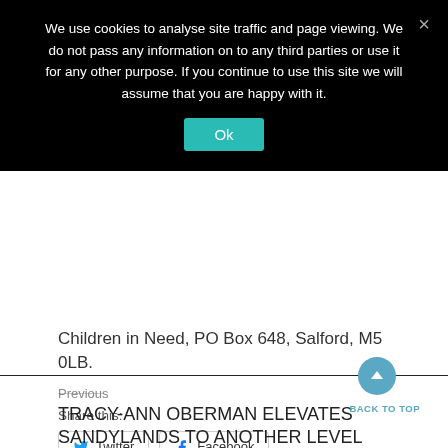We use cookies to analyse site traffic and page viewing. We do not pass any information on to any third parties or use it for any other purpose. If you continue to use this site we will assume that you are happy with it.
Ok
Children in Need, PO Box 648, Salford, M5 0LB.
Share this:
Twitter
Facebook
Posted on October 28, 2021
Posted in TV Comedy
Previous
TRACY-ANN OBERMAN ELEVATES SANDYLANDS TO ANOTHER LEVEL
BACK TO TOP